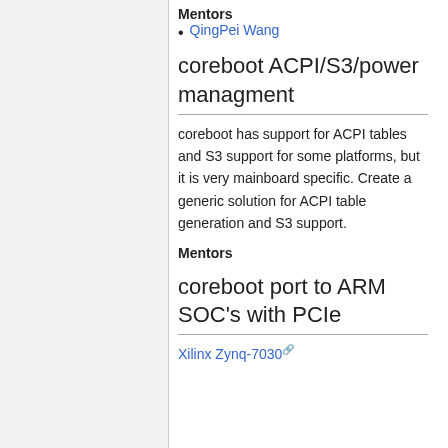Mentors
QingPei Wang
coreboot ACPI/S3/power managment
coreboot has support for ACPI tables and S3 support for some platforms, but it is very mainboard specific. Create a generic solution for ACPI table generation and S3 support.
Mentors
coreboot port to ARM SOC's with PCIe
Xilinx Zynq-7030